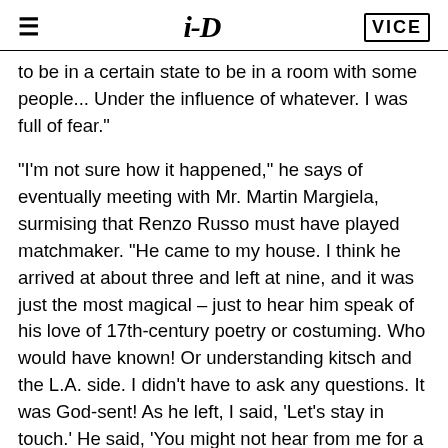≡   i-D   VICE
to be in a certain state to be in a room with some people... Under the influence of whatever. I was full of fear."
"I'm not sure how it happened," he says of eventually meeting with Mr. Martin Margiela, surmising that Renzo Russo must have played matchmaker. "He came to my house. I think he arrived at about three and left at nine, and it was just the most magical – just to hear him speak of his love of 17th-century poetry or costuming. Who would have known! Or understanding kitsch and the L.A. side. I didn't have to ask any questions. It was God-sent! As he left, I said, 'Let's stay in touch.' He said, 'You might not hear from me for a while.' We do converse. He does reply. I give